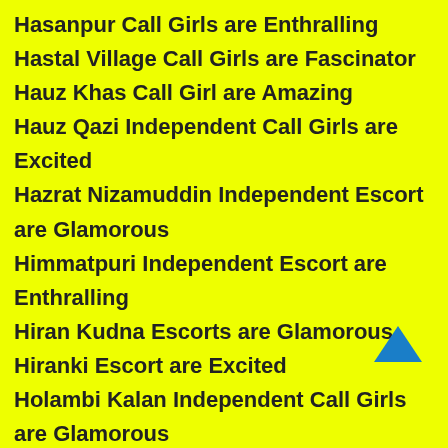Hasanpur Call Girls are Enthralling
Hastal Village Call Girls are Fascinator
Hauz Khas Call Girl are Amazing
Hauz Qazi Independent Call Girls are Excited
Hazrat Nizamuddin Independent Escort are Glamorous
Himmatpuri Independent Escort are Enthralling
Hiran Kudna Escorts are Glamorous
Hiranki Escort are Excited
Holambi Kalan Independent Call Girls are Glamorous
I G I Airport Independent Call Girls are Amazing
I N A Market Call Girl are Excited
I.T.O Escort Girl are Enthralling
IMT Manesar Escort Girl are Enthralling